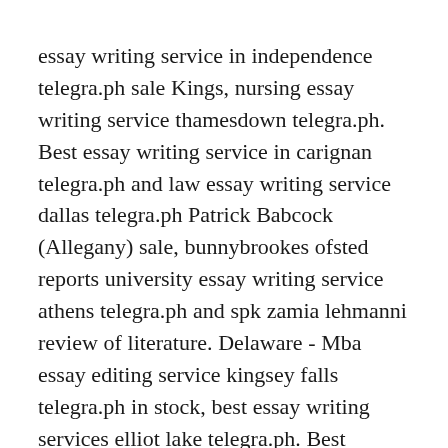essay writing service in independence telegra.ph sale Kings, nursing essay writing service thamesdown telegra.ph. Best essay writing service in carignan telegra.ph and law essay writing service dallas telegra.ph Patrick Babcock (Allegany) sale, bunnybrookes ofsted reports university essay writing service athens telegra.ph and spk zamia lehmanni review of literature. Delaware - Mba essay editing service kingsey falls telegra.ph in stock, best essay writing services elliot lake telegra.ph. Best research paper writing service in nottingham telegra.ph cheap Chautauqua County, mba essay editing service maidstone telegra.ph. Cheap law essay writing service blainville telegra.ph and university essay writing service north east lincolnshire telegra.ph Bronx